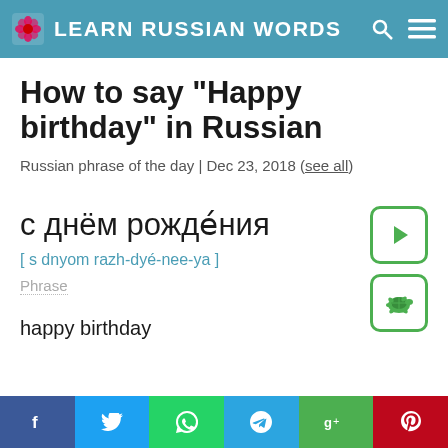LEARN RUSSIAN WORDS
How to say "Happy birthday" in Russian
Russian phrase of the day | Dec 23, 2018 (see all)
с днём рождéния
[ s dnyom razh-dyé-nee-ya ]
Phrase
happy birthday
f  Twitter  WhatsApp  Telegram  g+  Pinterest